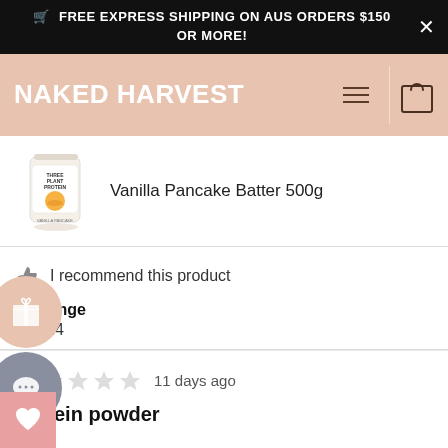FREE EXPRESS SHIPPING ON AUS ORDERS $150 OR MORE!
NAKED HARVEST
[Figure (photo): Product thumbnail: Naked Harvest Three Plant Protein in Vanilla Pancake Batter 500g container]
Vanilla Pancake Batter 500g
I recommend this product
Age Range
18 - 24
11 days ago
Protein powder